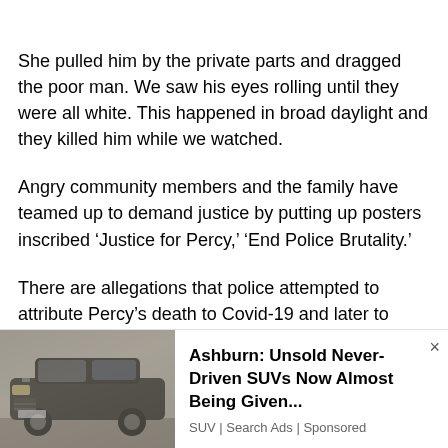She pulled him by the private parts and dragged the poor man. We saw his eyes rolling until they were all white. This happened in broad daylight and they killed him while we watched.
Angry community members and the family have teamed up to demand justice by putting up posters inscribed ‘Justice for Percy,’ ‘End Police Brutality.’
There are allegations that police attempted to attribute Percy’s death to Covid-19 and later to diabetes as they tried to cover their tracks.
[Figure (photo): Photo of a dark SUV (Land Rover style) with dust/dirt on it, shown from the front-left angle]
Ashburn: Unsold Never-Driven SUVs Now Almost Being Given...
SUV | Search Ads | Sponsored